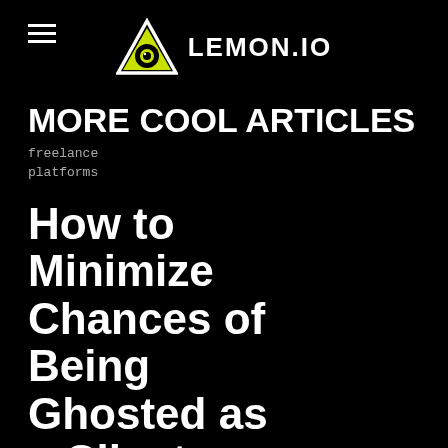LEMON.IO
MORE COOL ARTICLES
freelance
platforms
How to Minimize Chances of Being Ghosted as a Client